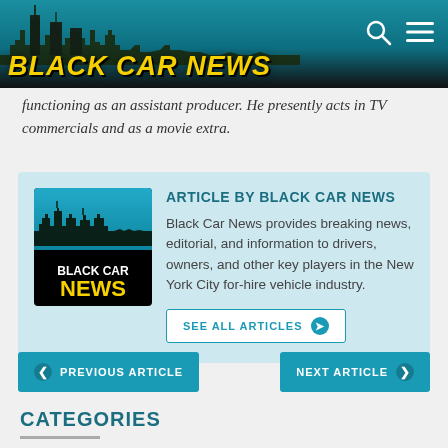BLACK CAR NEWS
functioning as an assistant producer. He presently acts in TV commercials and as a movie extra.
[Figure (logo): Black Car News logo with city skyline silhouette]
ARTICLE BY BLACK CAR NEWS
Black Car News provides breaking news, editorial, and information to drivers, owners, and other key players in the New York City for-hire vehicle industry.
SEE ALL ARTICLES ❯
PREVIOUS ARTICLE
NEXT ARTICLE
CATEGORIES